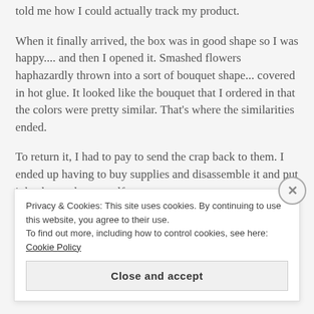told me how I could actually track my product.
When it finally arrived, the box was in good shape so I was happy.... and then I opened it. Smashed flowers haphazardly thrown into a sort of bouquet shape... covered in hot glue. It looked like the bouquet that I ordered in that the colors were pretty similar. That's where the similarities ended.
To return it, I had to pay to send the crap back to them. I ended up having to buy supplies and disassemble it and put it back together myself.
Privacy & Cookies: This site uses cookies. By continuing to use this website, you agree to their use.
To find out more, including how to control cookies, see here: Cookie Policy
Close and accept